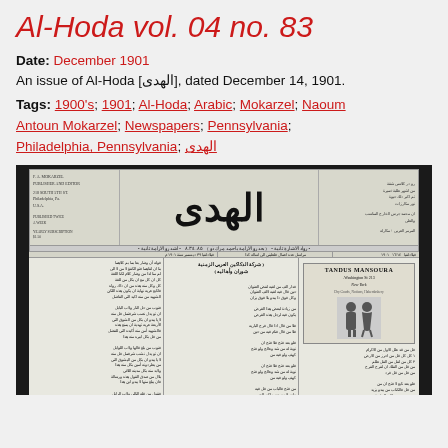Al-Hoda vol. 04 no. 83
Date: December 1901
An issue of Al-Hoda [الهدى], dated December 14, 1901.
Tags: 1900's; 1901; Al-Hoda; Arabic; Mokarzel; Naoum Antoun Mokarzel; Newspapers; Pennsylvania; Philadelphia, Pennsylvania; الهدى
[Figure (photo): Scanned front page of Al-Hoda (الهدى) newspaper from December 14, 1901, showing Arabic masthead and columns of Arabic text with an advertisement for Tandus Mansoura New York.]